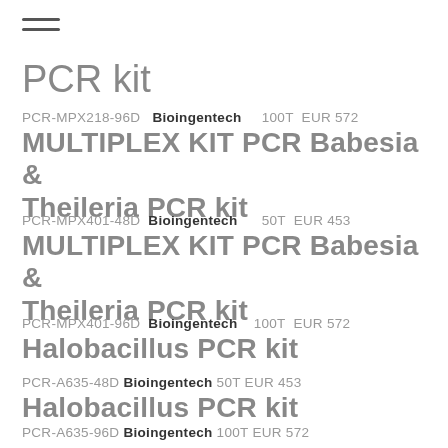PCR kit
PCR-MPX218-96D  Bioingentech  100T  EUR 572
MULTIPLEX KIT PCR Babesia & Theileria PCR kit
PCR-MPX401-48D  Bioingentech  50T  EUR 453
MULTIPLEX KIT PCR Babesia & Theileria PCR kit
PCR-MPX401-96D  Bioingentech  100T  EUR 572
Halobacillus PCR kit
PCR-A635-48D  Bioingentech  50T  EUR 453
Halobacillus PCR kit
PCR-A635-96D  Bioingentech  100T  EUR 572